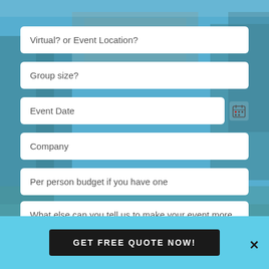[Figure (screenshot): Background photo of outdoor scene with buildings and trees, overlaid with a semi-transparent light blue panel]
Virtual? or Event Location?
Group size?
Event Date
Company
Per person budget if you have one
What else can you tell us to make your event more awesome?
GET FREE QUOTE NOW!